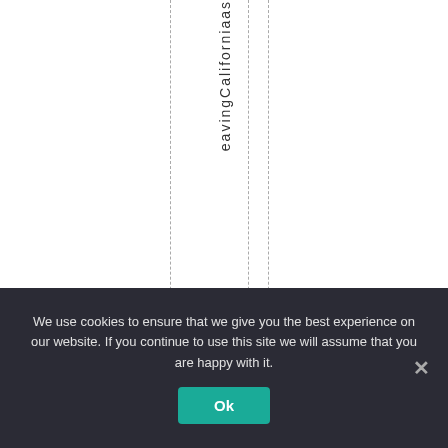[Figure (other): A table/document area showing rotated text reading 'eavingCaliforniaas' arranged vertically in a column between dashed vertical lines, on a white background.]
We use cookies to ensure that we give you the best experience on our website. If you continue to use this site we will assume that you are happy with it.